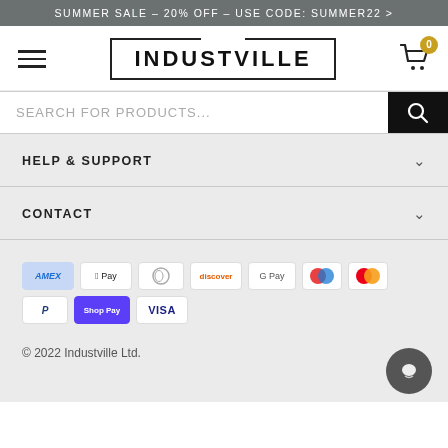SUMMER SALE – 20% OFF – USE CODE: SUMMER22 >
[Figure (screenshot): Navigation bar with hamburger menu, INDUSTVILLE logo in bordered box, and cart icon with badge showing 0]
SEARCH FOR PRODUCTS...
HELP & SUPPORT
CONTACT
[Figure (infographic): Payment method icons: American Express, Apple Pay, Diners Club, Discover, Google Pay, Maestro, Mastercard, PayPal, Shop Pay, Visa]
© 2022 Industville Ltd.